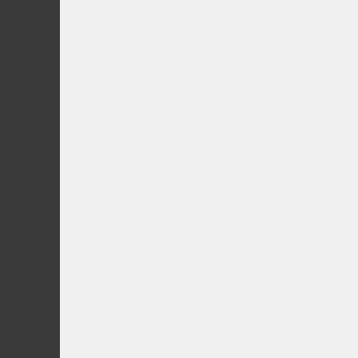One day 40 years ago, every human and every robot here, lost all memory of all events, everything that